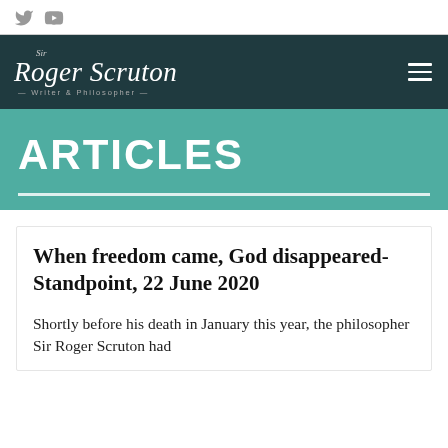Sir Roger Scruton – Writer & Philosopher
ARTICLES
When freedom came, God disappeared- Standpoint, 22 June 2020
Shortly before his death in January this year, the philosopher Sir Roger Scruton had